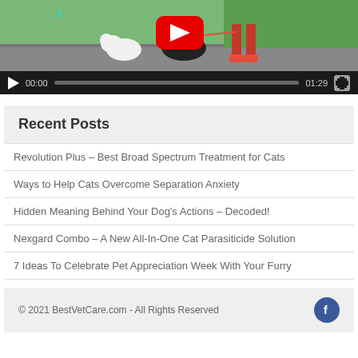[Figure (screenshot): Video player showing dogs being walked, with playback controls showing 00:00 / 01:29]
Recent Posts
Revolution Plus – Best Broad Spectrum Treatment for Cats
Ways to Help Cats Overcome Separation Anxiety
Hidden Meaning Behind Your Dog's Actions – Decoded!
Nexgard Combo – A New All-In-One Cat Parasiticide Solution
7 Ideas To Celebrate Pet Appreciation Week With Your Furry
© 2021 BestVetCare.com - All Rights Reserved